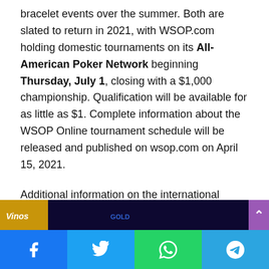bracelet events over the summer. Both are slated to return in 2021, with WSOP.com holding domestic tournaments on its All-American Poker Network beginning Thursday, July 1, closing with a $1,000 championship. Qualification will be available for as little as $1. Complete information about the WSOP Online tournament schedule will be released and published on wsop.com on April 15, 2021.
Additional information on the international component of WSOP Online 2021 will be published shortly thereafter. PokerNews has confirmed that those events are expected to be held on GGPoker.
WSOP Europe is Back
[Figure (photo): Partial image showing WSOP Europe related photo with Vinos branding, dark blue and gold tones]